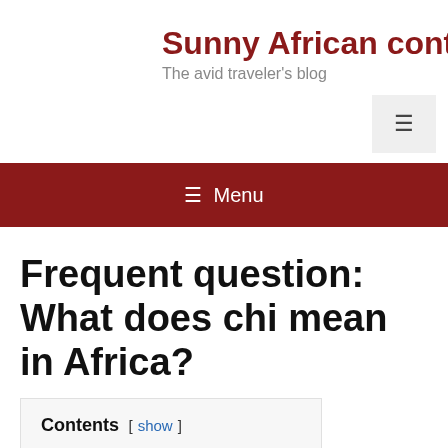Sunny African contine
The avid traveler's blog
≡ Menu
Frequent question: What does chi mean in Africa?
Contents [ show ]